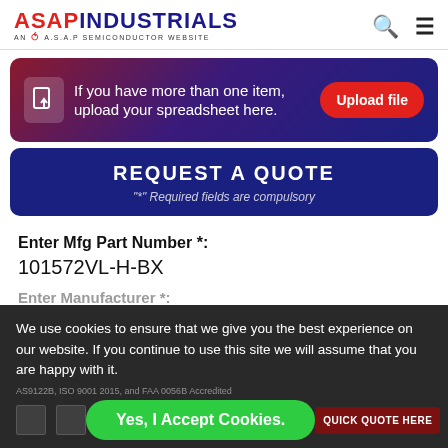[Figure (logo): ASAP Industrials logo - AN A.S.A.P SEMICONDUCTOR WEBSITE with red swoop]
If you have more than one item, upload your spreadsheet here.
Upload file
REQUEST A QUOTE
"*" Required fields are compulsory
Enter Mfg Part Number *:
101572VL-H-BX
Enter Manufacturer *:
AS9122B, ISO 9001 2015, and FAA 0056B Accredited
We use cookies to ensure that we give you the best experience on our website. If you continue to use this site we will assume that you are happy with it.
Yes, I Accept Cookies.
QUICK QUOTE HERE